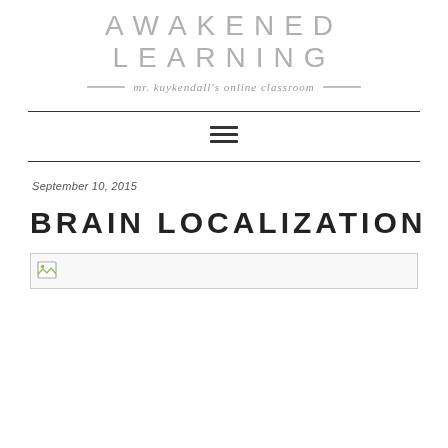AWAKENED LEARNING
mr. kuykendall's online classroom
September 10, 2015
BRAIN LOCALIZATION
[Figure (other): Broken/missing image placeholder at top of post]